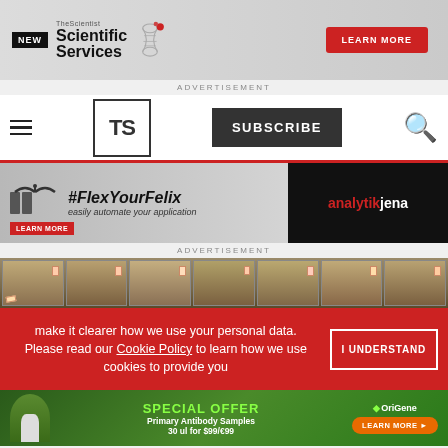[Figure (screenshot): The Scientist Scientific Services advertisement banner with NEW badge, DNA logo, and LEARN MORE red button]
ADVERTISEMENT
[Figure (screenshot): The Scientist (TS) website navigation bar with hamburger menu, TS logo box, SUBSCRIBE button, and red search icon]
[Figure (screenshot): analytik jena #FlexYourFelix advertisement banner with robotic arm graphics and LEARN MORE button]
ADVERTISEMENT
[Figure (photo): Row of laboratory animal cages with rodents, metallic cages with pink tags, viewed from front]
make it clearer how we use your personal data.
Please read our Cookie Policy to learn how we use cookies to provide you
[Figure (screenshot): OriGene Special Offer advertisement - Primary Antibody Samples 30 ul for $99/€99 with LEARN MORE button]
ADVERTISEMENT